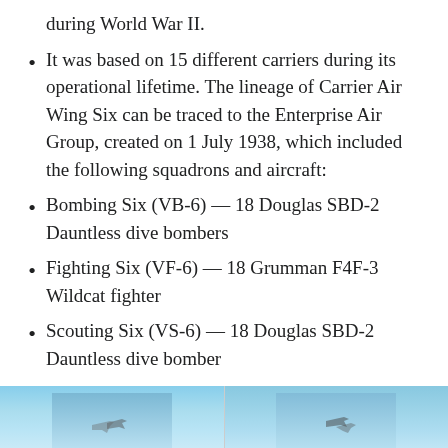during World War II.
It was based on 15 different carriers during its operational lifetime. The lineage of Carrier Air Wing Six can be traced to the Enterprise Air Group, created on 1 July 1938, which included the following squadrons and aircraft:
Bombing Six (VB-6) — 18 Douglas SBD-2 Dauntless dive bombers
Fighting Six (VF-6) — 18 Grumman F4F-3 Wildcat fighter
Scouting Six (VS-6) — 18 Douglas SBD-2 Dauntless dive bomber
Torpedo Six (VT-6) — 18 Douglas TBD Devastator torpedo bomber
[Figure (photo): Two side-by-side photographs showing aircraft or ships against a sky background, partially visible at the bottom of the page.]